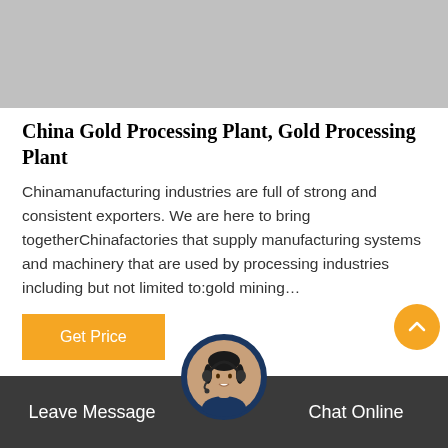[Figure (photo): Gray placeholder image at the top of the page, representing a product or banner image for China Gold Processing Plant.]
China Gold Processing Plant, Gold Processing Plant
Chinamanufacturing industries are full of strong and consistent exporters. We are here to bring togetherChinafactories that supply manufacturing systems and machinery that are used by processing industries including but not limited to:gold mining…
[Figure (other): Orange 'Get Price' button]
Leave Message    Chat Online